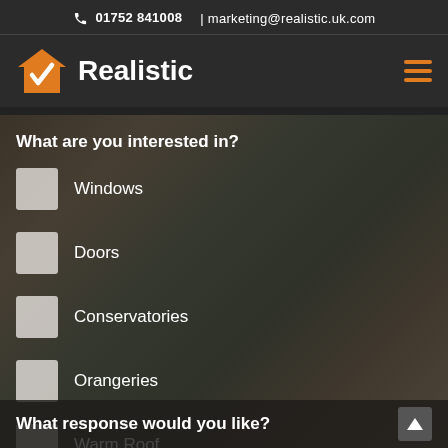📞 01752 841008 | marketing@realistic.uk.com
[Figure (logo): Realistic company logo with orange house icon with checkmark and white bold text 'Realistic']
What are you interested in?
Windows
Doors
Conservatories
Orangeries
Warm Roof
What response would you like?